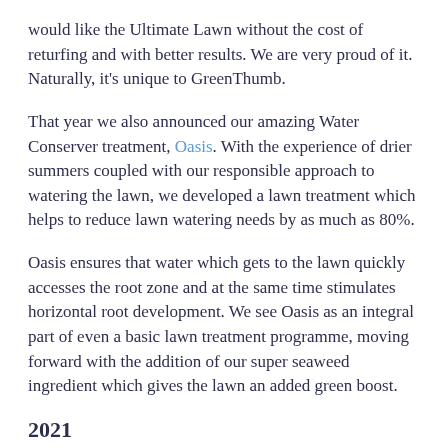would like the Ultimate Lawn without the cost of returfing and with better results. We are very proud of it. Naturally, it's unique to GreenThumb.
That year we also announced our amazing Water Conserver treatment, Oasis. With the experience of drier summers coupled with our responsible approach to watering the lawn, we developed a lawn treatment which helps to reduce lawn watering needs by as much as 80%.
Oasis ensures that water which gets to the lawn quickly accesses the root zone and at the same time stimulates horizontal root development. We see Oasis as an integral part of even a basic lawn treatment programme, moving forward with the addition of our super seaweed ingredient which gives the lawn an added green boost.
2021
2021 is an exciting year for us. After years of testing, we were able to launch our new and unique fertiliser for lawns for our